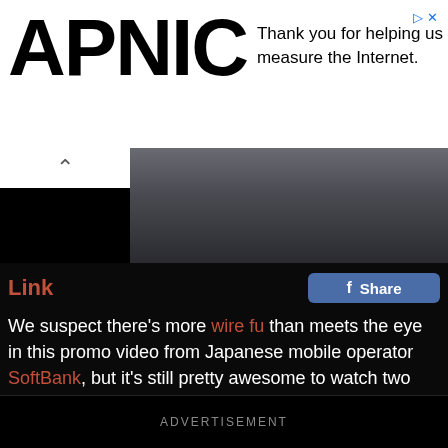APNIC — Thank you for helping us measure the Internet.
Link
We suspect there's more wire fu than meets the eye in this promo video from Japanese mobile operator SoftBank, but it's still pretty awesome to watch two sword-wielding samurai go at it while floating around with jetpacks. We would so pay to see this movie.
Check It Out >
ADVERTISEMENT